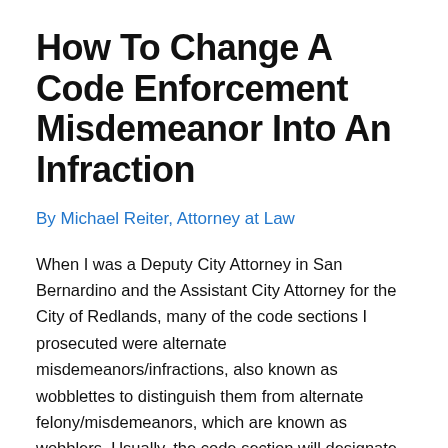How To Change A Code Enforcement Misdemeanor Into An Infraction
By Michael Reiter, Attorney at Law
When I was a Deputy City Attorney in San Bernardino and the Assistant City Attorney for the City of Redlands, many of the code sections I prosecuted were alternate misdemeanors/infractions, also known as wobblettes to distinguish them from alternate felony/misdemeanors, which are known as wobblers. Usually, the code section will designate punishment and note if the charge is an alternate misdemeanor/infraction, or a code will have a general penalty section. Typically, the city prosecutor will have prosecutorial discretion on how to charge the